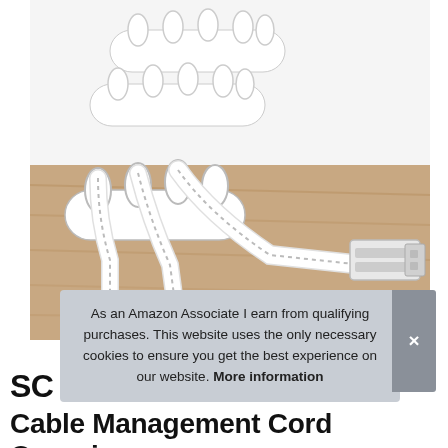[Figure (photo): Product photo showing white cable management cord organizer clips. Top portion shows two small white oval clips with raised slots. Bottom portion shows a larger clip holding three white USB/Lightning cables on a wooden desk surface.]
As an Amazon Associate I earn from qualifying purchases. This website uses the only necessary cookies to ensure you get the best experience on our website. More information
SC
Cable Management Cord Organiser